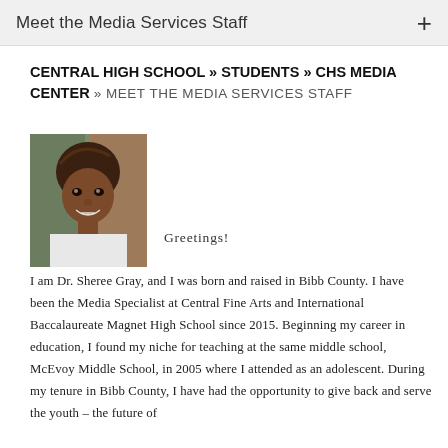Meet the Media Services Staff
CENTRAL HIGH SCHOOL » STUDENTS » CHS MEDIA CENTER » MEET THE MEDIA SERVICES STAFF
[Figure (photo): Portrait photo of Dr. Sheree Gray, a woman with short brown hair, smiling, against a green/brick background]
Greetings!
I am Dr. Sheree Gray, and I was born and raised in Bibb County. I have been the Media Specialist at Central Fine Arts and International Baccalaureate Magnet High School since 2015. Beginning my career in education, I found my niche for teaching at the same middle school, McEvoy Middle School, in 2005 where I attended as an adolescent. During my tenure in Bibb County, I have had the opportunity to give back and serve the youth – the future of